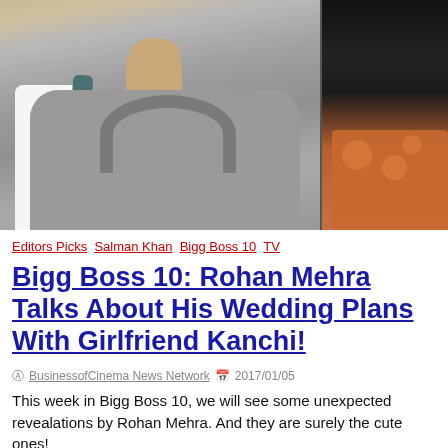[Figure (photo): Two people photographed side by side: on the left, a person wearing a grey sweater with a teal bag strap and white shirt visible; on the right, a person in dark clothing against an orange patterned background.]
Editors Picks  Salman Khan  Bigg Boss 10  TV
Bigg Boss 10: Rohan Mehra Talks About His Wedding Plans With Girlfriend Kanchi!
BusinessofCinema News Network  2017/01/05
This week in Bigg Boss 10, we will see some unexpected revealations by Rohan Mehra. And they are surely the cute ones!